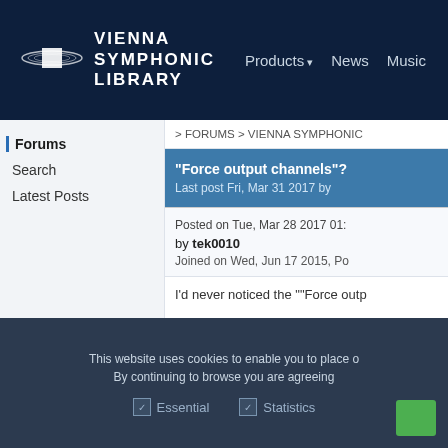VIENNA SYMPHONIC LIBRARY | Products | News | Music
Forums
Search
Latest Posts
> FORUMS > VIENNA SYMPHONIC
"Force output channels"?
Last post Fri, Mar 31 2017 by
Posted on Tue, Mar 28 2017 01:
by tek0010
Joined on Wed, Jun 17 2015, Po
I'd never noticed the ""Force outp
This website uses cookies to enable you to place o
By continuing to browse you are agreeing
✓ Essential     ✓ Statistics